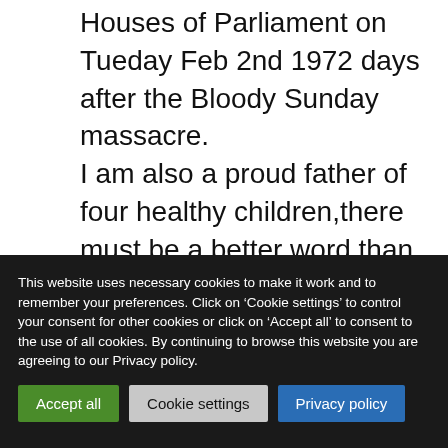Houses of Parliament on Tueday Feb 2nd 1972 days after the Bloody Sunday massacre. I am also a proud father of four healthy children,there must be a better word than “disgruntled”
This website uses necessary cookies to make it work and to remember your preferences. Click on 'Cookie settings' to control your consent for other cookies or click on 'Accept all' to consent to the use of all cookies. By continuing to browse this website you are agreeing to our Privacy policy.